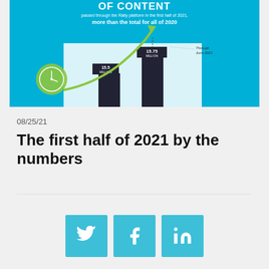[Figure (infographic): Infographic showing content volume passing through the Rally platform in H1 2021 — 15.5 million (2020 total) and 15.75 million (through June 2021) bars with an upward green arrow, clock graphic, cyan background, bold title 'OF CONTENT', subtitle 'passed through the Rally platform in the first half of 2021.', bold subtext 'more than the total for all of 2020']
08/25/21
The first half of 2021 by the numbers
[Figure (infographic): Social sharing buttons: Twitter, Facebook, LinkedIn — cyan square buttons with white icons]